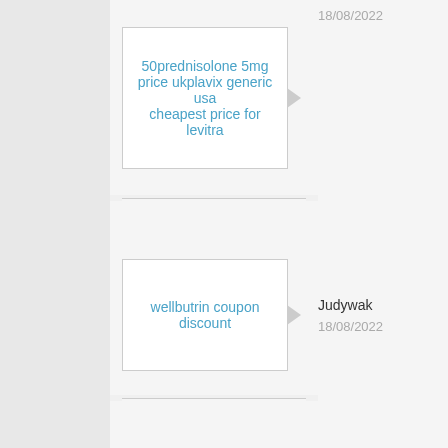50prednisolone 5mg price ukplavix generic usa cheapest price for levitra
wellbutrin coupon discount
Judywak
18/08/2022
buy prednisolone 5mg online uk
CurtisGueda
18/08/2022
cialis black
Rodneykah
18/08/2022